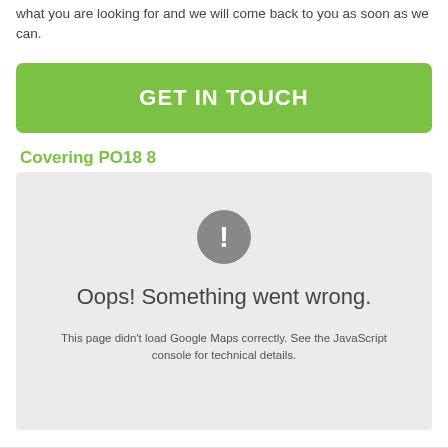what you are looking for and we will come back to you as soon as we can.
GET IN TOUCH
Covering PO18 8
[Figure (screenshot): Google Maps error state showing a grey box with an exclamation mark icon and text: 'Oops! Something went wrong. This page didn't load Google Maps correctly. See the JavaScript console for technical details.']